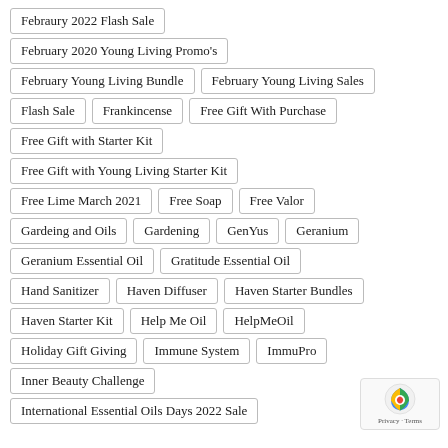Febraury 2022 Flash Sale
February 2020 Young Living Promo's
February Young Living Bundle
February Young Living Sales
Flash Sale
Frankincense
Free Gift With Purchase
Free Gift with Starter Kit
Free Gift with Young Living Starter Kit
Free Lime March 2021
Free Soap
Free Valor
Gardeing and Oils
Gardening
GenYus
Geranium
Geranium Essential Oil
Gratitude Essential Oil
Hand Sanitizer
Haven Diffuser
Haven Starter Bundles
Haven Starter Kit
Help Me Oil
HelpMeOil
Holiday Gift Giving
Immune System
ImmuPro
Inner Beauty Challenge
International Essential Oils Days 2022 Sale